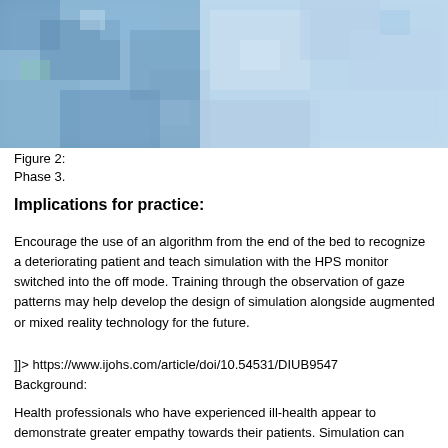[Figure (photo): Abstract blurred blue and white pixelated background image, resembling a medical or scientific visual with soft blue tones and lighter patches.]
Figure 2:
Phase 3.
Implications for practice:
Encourage the use of an algorithm from the end of the bed to recognize a deteriorating patient and teach simulation with the HPS monitor switched into the off mode. Training through the observation of gaze patterns may help develop the design of simulation alongside augmented or mixed reality technology for the future.
]]> https://www.ijohs.com/article/doi/10.54531/DIUB9547
Background:
Health professionals who have experienced ill-health appear to demonstrate greater empathy towards their patients. Simulation can